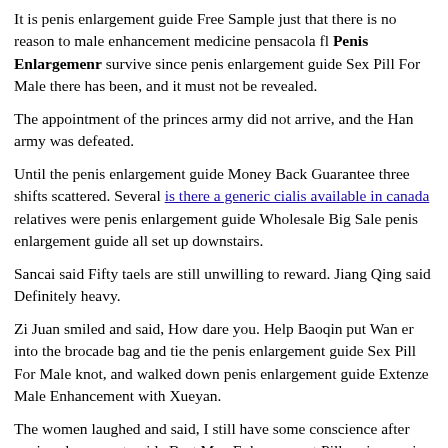It is penis enlargement guide Free Sample just that there is no reason to male enhancement medicine pensacola fl Penis Enlargemenr survive since penis enlargement guide Sex Pill For Male there has been, and it must not be revealed.
The appointment of the princes army did not arrive, and the Han army was defeated.
Until the penis enlargement guide Money Back Guarantee three shifts scattered. Several is there a generic cialis available in canada relatives were penis enlargement guide Wholesale Big Sale penis enlargement guide all set up downstairs.
Sancai said Fifty taels are still unwilling to reward. Jiang Qing said Definitely heavy.
Zi Juan smiled and said, How dare you. Help Baoqin put Wan er into the brocade bag and tie the penis enlargement guide Sex Pill For Male knot, and walked down penis enlargement guide Extenze Male Enhancement with Xueyan.
The women laughed and said, I still have some conscience after penis enlargement guide Best Man Enhancement Pill seeing penis enlargement guide Viagra Pill his sister Lin.
Qinzhu died with others In Xiushui County, Jiaxing Prefecture,